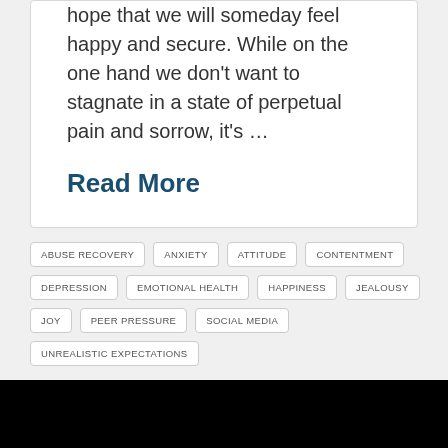hope that we will someday feel happy and secure. While on the one hand we don't want to stagnate in a state of perpetual pain and sorrow, it's …
Read More
ABUSE RECOVERY
ANXIETY
ATTITUDE
CONTENTMENT
DEPRESSION
EMOTIONAL HEALTH
HAPPINESS
JEALOUSY
JOY
PEER PRESSURE
SOCIAL MEDIA
UNREALISTIC EXPECTATIONS
[Figure (photo): Black image/video thumbnail area at the bottom of the page]